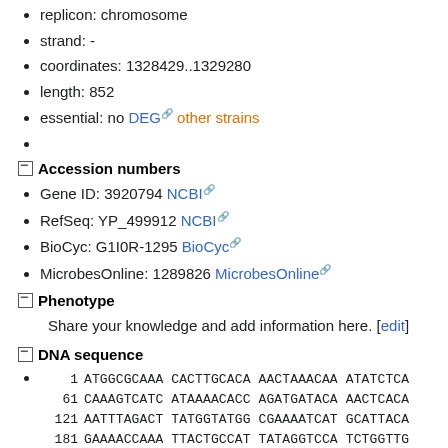replicon: chromosome
strand: -
coordinates: 1328429..1329280
length: 852
essential: no DEG [link] other strains [link]
Accession numbers
Gene ID: 3920794 NCBI [link]
RefSeq: YP_499912 NCBI [link]
BioCyc: G1I0R-1295 BioCyc [link]
MicrobesOnline: 1289826 MicrobesOnline [link]
Phenotype
Share your knowledge and add information here. [edit]
DNA sequence
1    ATGGCGCAAA  CACTTGCACA  AACTAAACAA  ATATCTCA
61   CAAAGTCATC  ATAAAACACC  AGATGATACA  AACTCACA
121  AATTTAGACT  TATGGTATGG  CGAAAATCAT  GCATTACA
181  GAAAACCAAA  TTACTGCCAT  TATAGGTCCA  TCTGGTTG
241  ACTTTGAATC  GAATGGTTGA  GTTAGTACCT  TCTGTGAA
301  CGAGATCAAG  ACATTTTTGA  TCAAAAATA   TCTAAAGA
361  ATGGTCTTTC  AACAACCTAA  TCCATTTCCA  AAATCAAT
421  CCAAAGATTC  ACGGTATTAA  AAATAAAAAA  GTTCTTG